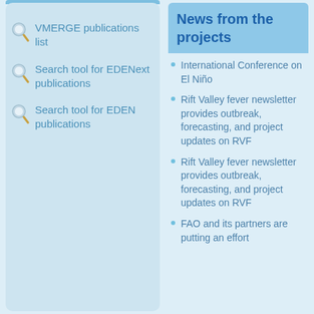VMERGE publications list
Search tool for EDENext publications
Search tool for EDEN publications
News from the projects
International Conference on El Niño
Rift Valley fever newsletter provides outbreak, forecasting, and project updates on RVF
Rift Valley fever newsletter provides outbreak, forecasting, and project updates on RVF
FAO and its partners are putting an effort